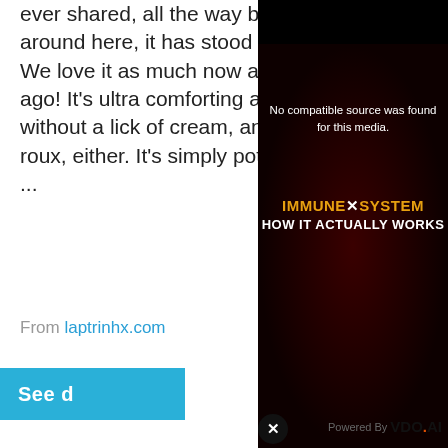ever shared, all the way back in 2009. And around here, it has stood the test of time. We love it as much now as we did 11 years ago! It's ultra comforting and creamy, but without a lick of cream, and no need for a roux, either. It's simply potatoes and veggies ...
From laptrinhx.com
[Figure (screenshot): A blue 'See' button partially visible, with a circular close button (X) overlapping. Text reads 'Powered By VDO.AI'. A dark video player overlay shows text: 'No compatible source was found for this media.' with a dark background image showing 'IMMUNE X SYSTEM HOW IT ACTUALLY WORKS']
LOADED POTATO SOUP BY KYLEE C...
2020-02-... high heat... soften. A... reduce h... or until p... cup of milk, then once blended add to remaining